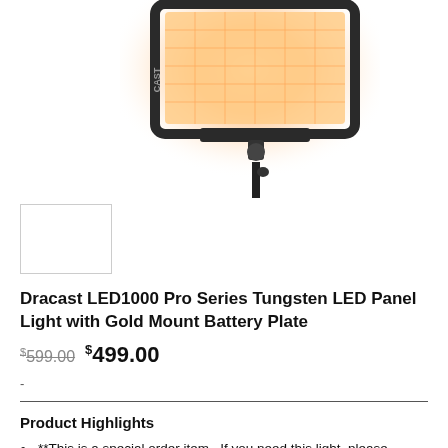[Figure (photo): Dracast LED1000 Pro Series Tungsten LED Panel Light mounted on a stand, glowing orange/warm light, with a dark frame and DRACAST branding visible.]
[Figure (photo): Small thumbnail image placeholder for the product, shown as an empty white box with a border.]
Dracast LED1000 Pro Series Tungsten LED Panel Light with Gold Mount Battery Plate
$599.00  $499.00
-
Product Highlights
**This is a special order item.  If you need this light, please contact us here
**Barndoors shown in images are not included with purchase